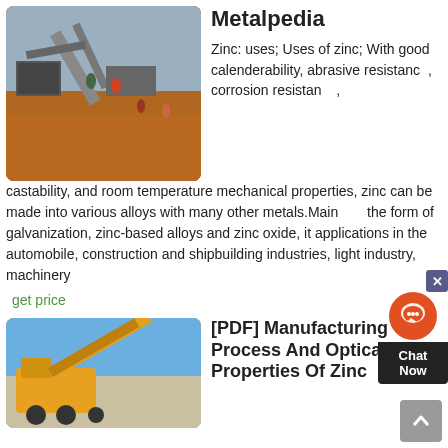[Figure (photo): Aerial/overhead view of a mining or construction site with machinery, conveyor belts, and workers on red/orange dirt ground.]
Metalpedia
Zinc: uses; Uses of zinc; With good calenderability, abrasive resistance, corrosion resistance, castability, and room temperature mechanical properties, zinc can be made into various alloys with many other metals.Mainly in the form of galvanization, zinc-based alloys and zinc oxide, it applications in the automobile, construction and shipbuilding industries, light industry, machinery
get price
[Figure (photo): Large yellow industrial mining/crushing machinery on a construction site against a blue sky.]
[PDF] Manufacturing Process And Optical Properties Of Zinc